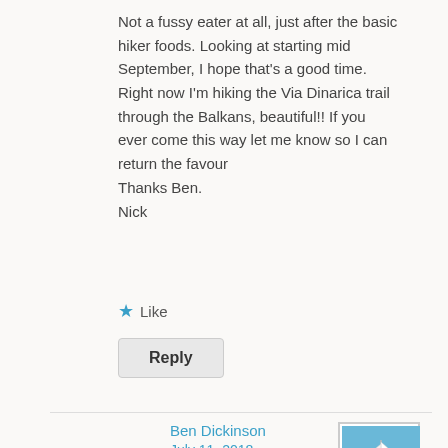Not a fussy eater at all, just after the basic hiker foods. Looking at starting mid September, I hope that's a good time.
Right now I'm hiking the Via Dinarica trail through the Balkans, beautiful!! If you ever come this way let me know so I can return the favour
Thanks Ben.
Nick
★ Like
Reply
Ben Dickinson
July 11, 2018
[Figure (photo): Small square photo of a boat on blue water]
Hi Nick,
Thanks for the feedback, really chuffed you liked it! I'm just getting the blog off the ground so it's good to